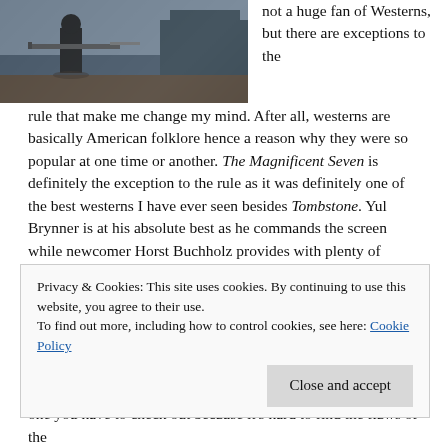[Figure (photo): A person holding a rifle or long gun outdoors, with a building in the background. Black and white or dark-toned image from what appears to be a Western film.]
not a huge fan of Westerns, but there are exceptions to the rule that make me change my mind. After all, westerns are basically American folklore hence a reason why they were so popular at one time or another. The Magnificent Seven is definitely the exception to the rule as it was definitely one of the best westerns I have ever seen besides Tombstone. Yul Brynner is at his absolute best as he commands the screen while newcomer Horst Buchholz provides with plenty of moments of laughter that keep us going throughout the film with naive personality. Eli Wallach should also be mentioned into the conversation as he plays the antagonist of the film and a very good one to boot. One of my favorite scenes is in the beginning of the film because it helped set the tone for the rest of the film. It's the scene where Yul's character first meets Steve
Privacy & Cookies: This site uses cookies. By continuing to use this website, you agree to their use.
To find out more, including how to control cookies, see here: Cookie Policy
one you have to check out because it's hard to find the flaws of the